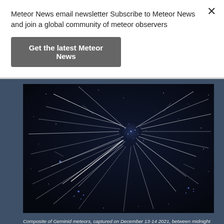Meteor News email newsletter Subscribe to Meteor News and join a global community of meteor observers
Get the latest Meteor News
[Figure (photo): Composite photograph of Geminid meteors showing streaks of light radiating outward against a dark night sky with stars, captured December 13-14 2021]
Composite of Geminid meteors, captured on December 13-14 2021, between midnight and 5h am (local time). Canon 6D and Rokinon 14mm f/2.8, ISO800 (prior to 2h30m am local time), ISO3200 (after 2h30m am local time). Hundreds of 30 seconds exposures were taken.